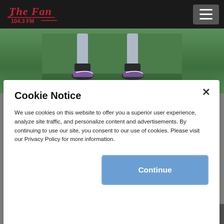The Fan 104.3 FM
[Figure (photo): Background photo of a sports field showing a player's legs and cleats on green grass]
Cookie Notice
We use cookies on this website to offer you a superior user experience, analyze site traffic, and personalize content and advertisements. By continuing to use our site, you consent to our use of cookies. Please visit our Privacy Policy for more information.
[Figure (photo): Bottom portion of sports photo showing players in orange and white uniforms]